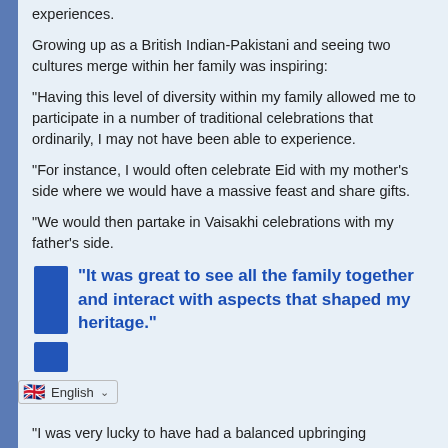experiences.
Growing up as a British Indian-Pakistani and seeing two cultures merge within her family was inspiring:
"Having this level of diversity within my family allowed me to participate in a number of traditional celebrations that ordinarily, I may not have been able to experience.
"For instance, I would often celebrate Eid with my mother's side where we would have a massive feast and share gifts.
"We would then partake in Vaisakhi celebrations with my father's side.
"It was great to see all the family together and interact with aspects that shaped my heritage."
"I was very lucky to have had a balanced upbringing